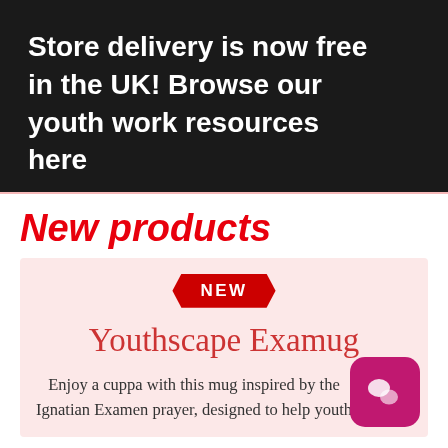Store delivery is now free in the UK! Browse our youth work resources here
New products
[Figure (infographic): Pink card with NEW badge, product title 'Youthscape Examug', and description text. Pink magneta chat icon in bottom right corner.]
Youthscape Examug
Enjoy a cuppa with this mug inspired by the Ignatian Examen prayer, designed to help youth